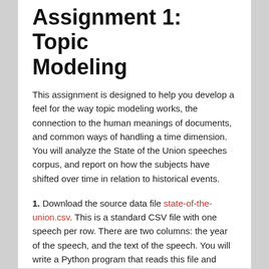Assignment 1: Topic Modeling
This assignment is designed to help you develop a feel for the way topic modeling works, the connection to the human meanings of documents, and common ways of handling a time dimension. You will analyze the State of the Union speeches corpus, and report on how the subjects have shifted over time in relation to historical events.
1. Download the source data file state-of-the-union.csv. This is a standard CSV file with one speech per row. There are two columns: the year of the speech, and the text of the speech. You will write a Python program that reads this file and turns it into TF-IDF document vectors, then prints out some information. Here is how to read a CSV in Python. You may need to add the line